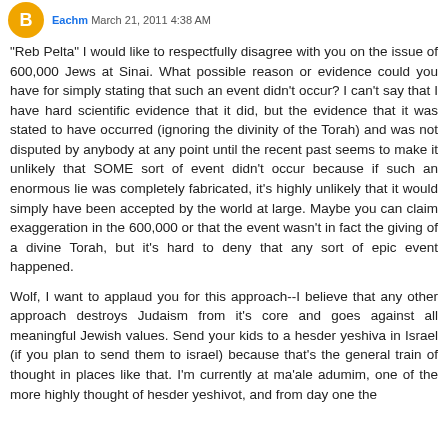Eachm March 21, 2011 4:38 AM
"Reb Pelta" I would like to respectfully disagree with you on the issue of 600,000 Jews at Sinai. What possible reason or evidence could you have for simply stating that such an event didn't occur? I can't say that I have hard scientific evidence that it did, but the evidence that it was stated to have occurred (ignoring the divinity of the Torah) and was not disputed by anybody at any point until the recent past seems to make it unlikely that SOME sort of event didn't occur because if such an enormous lie was completely fabricated, it's highly unlikely that it would simply have been accepted by the world at large. Maybe you can claim exaggeration in the 600,000 or that the event wasn't in fact the giving of a divine Torah, but it's hard to deny that any sort of epic event happened.
Wolf, I want to applaud you for this approach--I believe that any other approach destroys Judaism from it's core and goes against all meaningful Jewish values. Send your kids to a hesder yeshiva in Israel (if you plan to send them to israel) because that's the general train of thought in places like that. I'm currently at ma'ale adumim, one of the more highly thought of hesder yeshivot, and from day one the